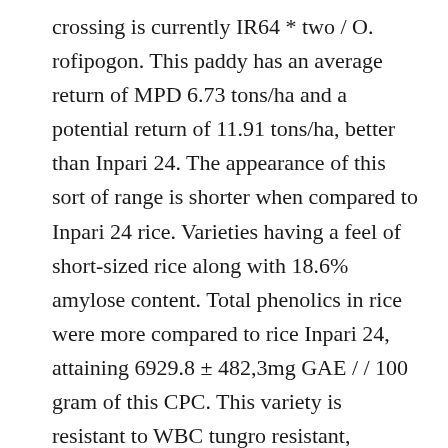crossing is currently IR64 * two / O. rofipogon. This paddy has an average return of MPD 6.73 tons/ha and a potential return of 11.91 tons/ha, better than Inpari 24. The appearance of this sort of range is shorter when compared to Inpari 24 rice. Varieties having a feel of short-sized rice along with 18.6% amylose content. Total phenolics in rice were more compared to rice Inpari 24, attaining 6929.8 ± 482,3mg GAE / / 100 gram of this CPC. This variety is resistant to WBC tungro resistant, moderately resistant to HDB bands III, IV, and VIII and resistant to race burst 033, also biotype 1. The price of one kilogram of rice reaches IDR 18,000, or it may be cheaper if you purchase it.